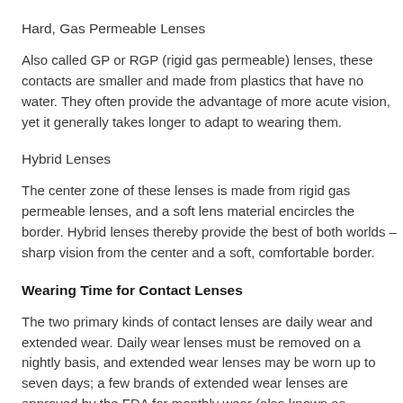Hard, Gas Permeable Lenses
Also called GP or RGP (rigid gas permeable) lenses, these contacts are smaller and made from plastics that have no water. They often provide the advantage of more acute vision, yet it generally takes longer to adapt to wearing them.
Hybrid Lenses
The center zone of these lenses is made from rigid gas permeable lenses, and a soft lens material encircles the border. Hybrid lenses thereby provide the best of both worlds – sharp vision from the center and a soft, comfortable border.
Wearing Time for Contact Lenses
The two primary kinds of contact lenses are daily wear and extended wear. Daily wear lenses must be removed on a nightly basis, and extended wear lenses may be worn up to seven days; a few brands of extended wear lenses are approved by the FDA for monthly wear (also known as